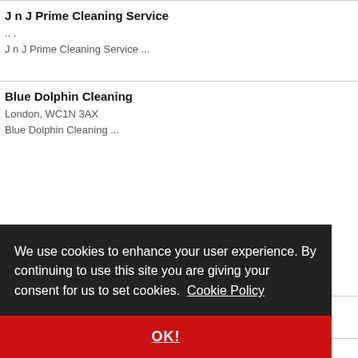J n J Prime Cleaning Service
.. .
J n J Prime Cleaning Service ...
Blue Dolphin Cleaning
London, WC1N 3AX
Blue Dolphin Cleaning ...
We use cookies to enhance your user experience. By continuing to use this site you are giving your consent for us to set cookies. Cookie Policy
OK!